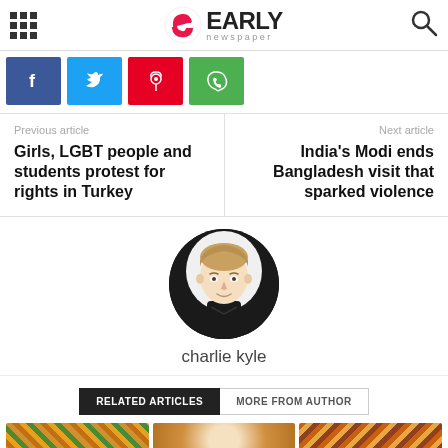Early Newspaper
[Figure (logo): Early Newspaper logo with stylized e icon and grid/search icons]
[Figure (infographic): Social share buttons: Facebook, Twitter, Pinterest, WhatsApp]
Previous article
Girls, LGBT people and students protest for rights in Turkey
Next article
India's Modi ends Bangladesh visit that sparked violence
[Figure (photo): Author photo of charlie kyle — young person with short brown hair wearing black top]
charlie kyle
RELATED ARTICLES   MORE FROM AUTHOR
[Figure (photo): Three article thumbnail images in a strip at the bottom]